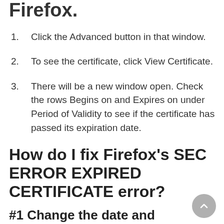Firefox.
Click the Advanced button in that window.
To see the certificate, click View Certificate.
There will be a new window open. Check the rows Begins on and Expires on under Period of Validity to see if the certificate has passed its expiration date.
How do I fix Firefox's SEC ERROR EXPIRED CERTIFICATE error?
#1 Change the date and